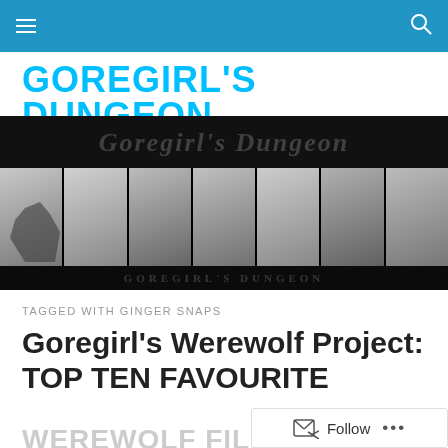Navigation bar with menu icon and search icon
GOREGIRL'S DUNGEON
[Figure (photo): Goregirl's Dungeon banner with italic serif text logo and a horizontal strip of seven black-and-white film/horror photos including a monster, women in various poses]
TAGGED WITH GINGER SNAPS
Goregirl's Werewolf Project: TOP TEN FAVOURITE
WEREWOLF FILMS!
Follow ...